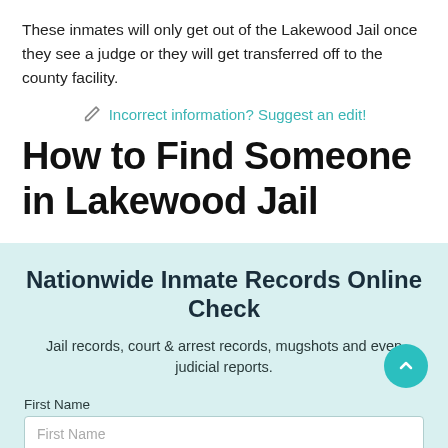These inmates will only get out of the Lakewood Jail once they see a judge or they will get transferred off to the county facility.
Incorrect information? Suggest an edit!
How to Find Someone in Lakewood Jail
Nationwide Inmate Records Online Check
Jail records, court & arrest records, mugshots and even judicial reports.
First Name